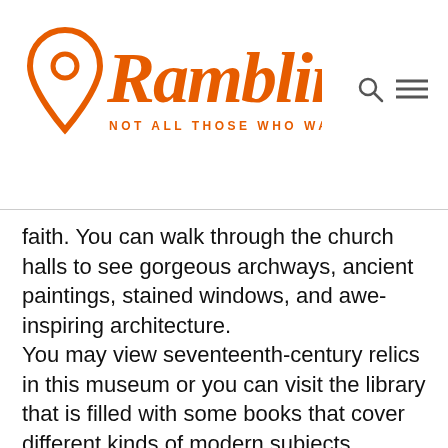Ramblingj — NOT ALL THOSE WHO WANDER ARE LOST
faith. You can walk through the church halls to see gorgeous archways, ancient paintings, stained windows, and awe-inspiring architecture.
You may view seventeenth-century relics in this museum or you can visit the library that is filled with some books that cover different kinds of modern subjects.